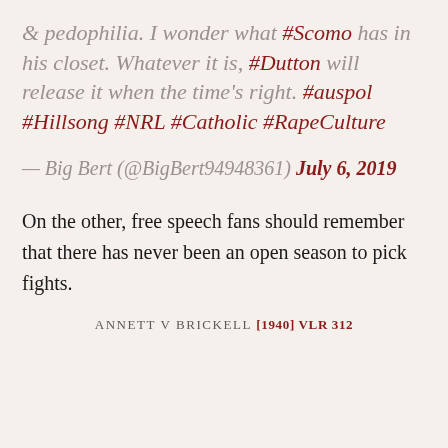& pedophilia. I wonder what #Scomo has in his closet. Whatever it is, #Dutton will release it when the time's right. #auspol #Hillsong #NRL #Catholic #RapeCulture
— Big Bert (@BigBert94948361) July 6, 2019
On the other, free speech fans should remember that there has never been an open season to pick fights.
ANNETT V BRICKELL [1940] VLR 312